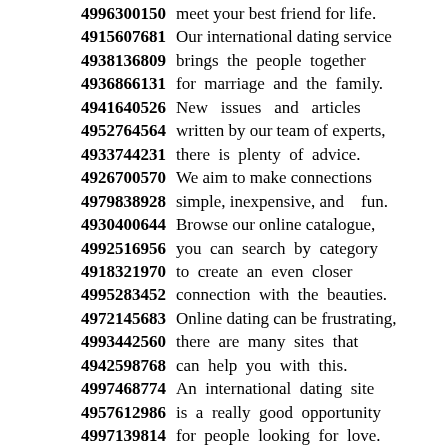4996300150 meet your best friend for life.
4915607681 Our international dating service
4938136809 brings the people together
4936866131 for marriage and the family.
4941640526 New issues and articles
4952764564 written by our team of experts,
4933744231 there is plenty of advice.
4926700570 We aim to make connections
4979838928 simple, inexpensive, and fun.
4930400644 Browse our online catalogue,
4992516956 you can search by category
4918321970 to create an even closer
4995283452 connection with the beauties.
4972145683 Online dating can be frustrating,
4993442560 there are many sites that
4942598768 can help you with this.
4997468774 An international dating site
4957612986 is a really good opportunity
4997139814 for people looking for love.
4940370789 There are hundreds of people
4970250845 signing up every day and
4947463561 subscribe to our mailing list
4969158750 to receive news and updates.
4934640233 You can search thousands of
4990331960 profiles in just a few minutes